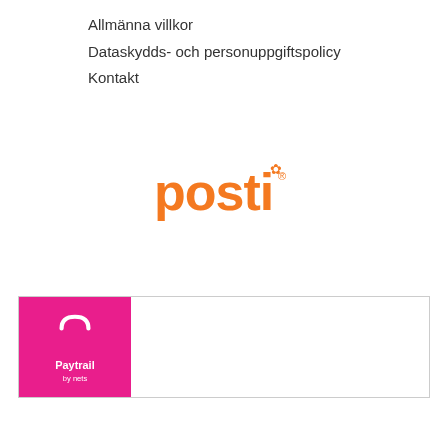Allmänna villkor
Dataskydds- och personuppgiftspolicy
Kontakt
[Figure (logo): Posti logo in orange text]
[Figure (logo): Paytrail by nets logo — pink background on left with shopping bag icon and white text 'Paytrail by nets', white area on right]